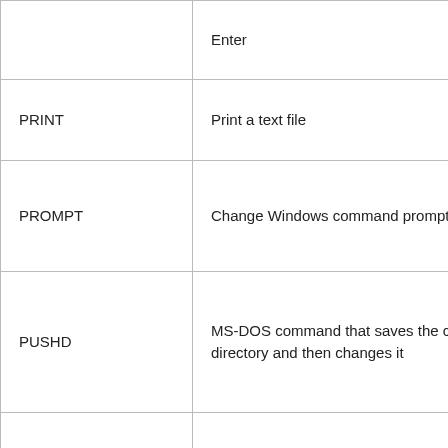| Command | Description |
| --- | --- |
|  | Enter |
| PRINT | Print a text file |
| PROMPT | Change Windows command prompt |
| PUSHD | MS-DOS command that saves the current directory and then changes it |
| QAPPSRV | Displays the RD session host servers available on the network |
| QPROCESS | Displays information about processes |
|  | Shows the current status and |